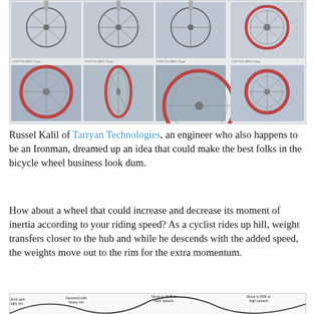[Figure (photo): Grid of 8 bicycle wheel photos arranged in 2 rows of 4, showing wheels from various angles including straight-on and tilted views, some with red rims visible]
Russel Kalil of Tarryan Technologies, an engineer who also happens to be an Ironman, dreamed up an idea that could make the best folks in the bicycle wheel business look dum.
How about a wheel that could increase and decrease its moment of inertia according to your riding speed? As a cyclist rides up hill, weight transfers closer to the hub and while he descends with the added speed, the weights move out to the rim for the extra momentum.
[Figure (infographic): Diagram showing a bicycle riding scenario with annotations: 'Climb with light rim', 'Descend with heavy rim', 'Move to HUB at slow speeds', 'Move to RIM at high speeds', with a wave-shaped hill profile and wheel icons]